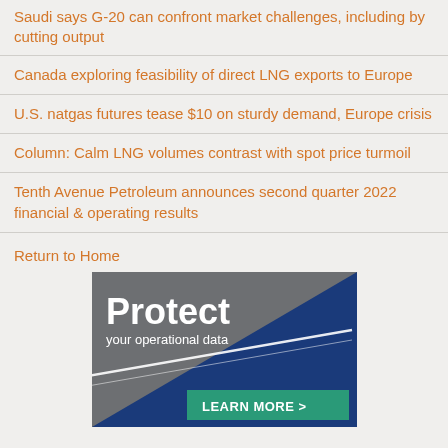Saudi says G-20 can confront market challenges, including by cutting output
Canada exploring feasibility of direct LNG exports to Europe
U.S. natgas futures tease $10 on sturdy demand, Europe crisis
Column: Calm LNG volumes contrast with spot price turmoil
Tenth Avenue Petroleum announces second quarter 2022 financial & operating results
Return to Home
[Figure (infographic): Advertisement banner with dark gray background and blue/teal diagonal design elements. Large white bold text reads 'Protect' with smaller text 'your operational data' below. A teal button reads 'LEARN MORE >']